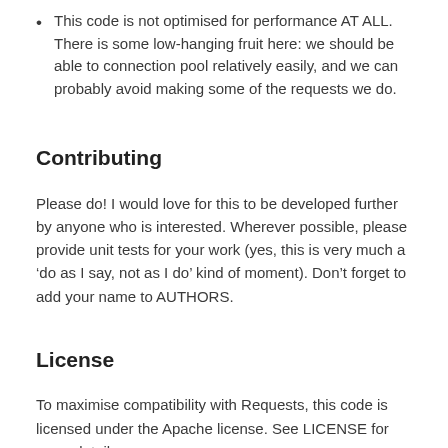This code is not optimised for performance AT ALL. There is some low-hanging fruit here: we should be able to connection pool relatively easily, and we can probably avoid making some of the requests we do.
Contributing
Please do! I would love for this to be developed further by anyone who is interested. Wherever possible, please provide unit tests for your work (yes, this is very much a ‘do as I say, not as I do’ kind of moment). Don’t forget to add your name to AUTHORS.
License
To maximise compatibility with Requests, this code is licensed under the Apache license. See LICENSE for more details.